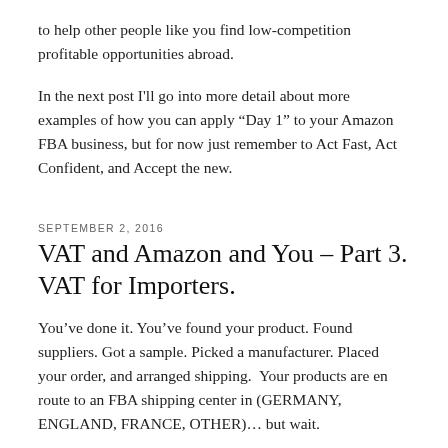to help other people like you find low-competition profitable opportunities abroad.
In the next post I'll go into more detail about more examples of how you can apply “Day 1” to your Amazon FBA business, but for now just remember to Act Fast, Act Confident, and Accept the new.
SEPTEMBER 2, 2016
VAT and Amazon and You – Part 3. VAT for Importers.
You’ve done it. You’ve found your product. Found suppliers. Got a sample. Picked a manufacturer. Placed your order, and arranged shipping.  Your products are en route to an FBA shipping center in (GERMANY, ENGLAND, FRANCE, OTHER)… but wait.